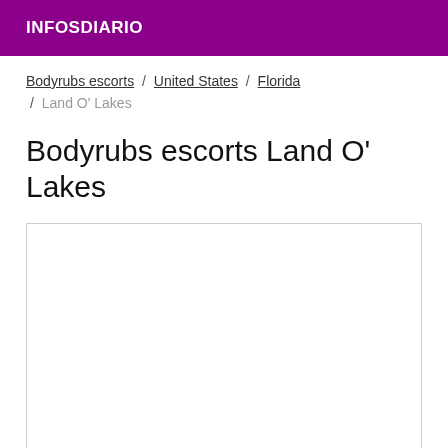INFOSDIARIO
Bodyrubs escorts / United States / Florida / Land O' Lakes
Bodyrubs escorts Land O' Lakes
[Figure (other): Empty white content box with light gray border]